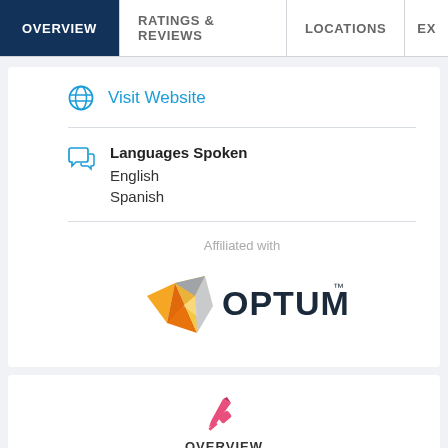OVERVIEW | RATINGS & REVIEWS | LOCATIONS | EX
Visit Website
Languages Spoken
English
Spanish
Affiliated with
[Figure (logo): Optum logo with orange/yellow geometric diamond shape and the text OPTUM with trademark symbol]
[Figure (illustration): Pink pen/quill icon]
OVERVIEW